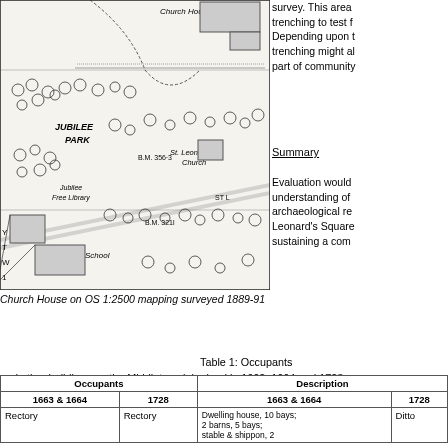[Figure (map): Historical OS 1:2500 map showing Church House, Jubilee Park, St. Leonard Church, Jubilee Free Library, School, with tree symbols and survey markings. Shows B.M. 3563 and B.M. 3211 bench marks.]
Church House on OS 1:2500 mapping surveyed 1889-91
survey. This area trenching to test f Depending upon t trenching might al part of community
Summary
Evaluation would understanding of archaeological rem Leonard's Square sustaining a comm
Table 1: Occupants and other buildings on the Middleton glebe land in 1663, 1664 and 1728
| Occupants 1663 & 1664 | 1728 | Description 1663 & 1664 | 1728 |
| --- | --- | --- | --- |
| Rectory | Rectory | Dwelling house, 10 bays; 2 barns, 5 bays; stable & shippon, 2 | Ditto |